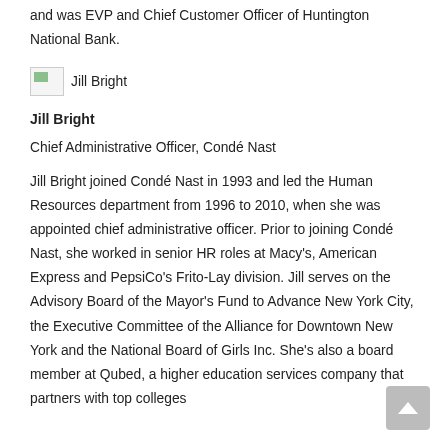and was EVP and Chief Customer Officer of Huntington National Bank.
[Figure (photo): Broken image placeholder for Jill Bright photo with alt text 'Jill Bright']
Jill Bright
Chief Administrative Officer, Condé Nast
Jill Bright joined Condé Nast in 1993 and led the Human Resources department from 1996 to 2010, when she was appointed chief administrative officer. Prior to joining Condé Nast, she worked in senior HR roles at Macy's, American Express and PepsiCo's Frito-Lay division. Jill serves on the Advisory Board of the Mayor's Fund to Advance New York City, the Executive Committee of the Alliance for Downtown New York and the National Board of Girls Inc. She's also a board member at Qubed, a higher education services company that partners with top colleges